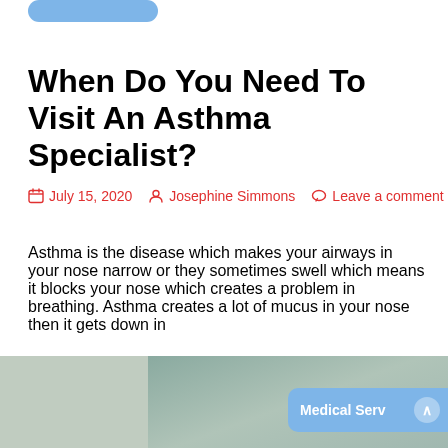When Do You Need To Visit An Asthma Specialist?
July 15, 2020   Josephine Simmons   Leave a comment
Asthma is the disease which makes your airways in your nose narrow or they sometimes swell which means it blocks your nose which creates a problem in breathing. Asthma creates a lot of mucus in your nose then it gets down in
[Figure (other): Read More button with rounded corners in blue]
[Figure (photo): Partial photo of a medical professional with a patient, bottom of page. Blue Medical Serv button overlay on right.]